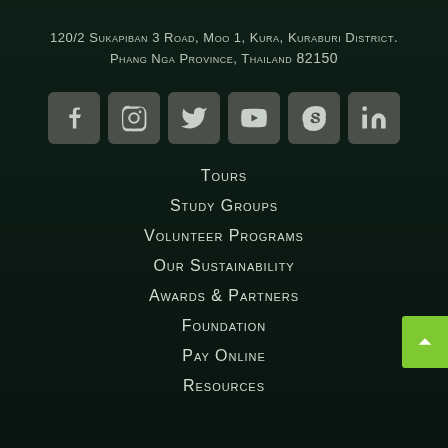120/2 Sukapiban 3 Road, Moo 1, Kura, Kuraburi District.
Phang Nga Province, Thailand 82150
[Figure (infographic): Row of 6 social media icon buttons: Facebook, Instagram, Twitter, YouTube, Skype, LinkedIn]
Tours
Study Groups
Volunteer Programs
Our Sustainability
Awards & Partners
Foundation
Pay Online
Resources